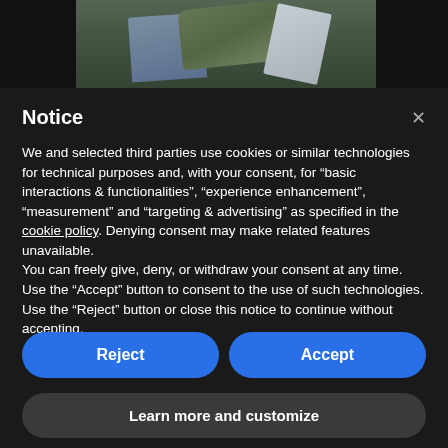[Figure (photo): Partial view of a person's arm/sleeve with what appears to be a document or paper, set against a dark background. Only the upper portion is visible behind a modal overlay.]
Notice
We and selected third parties use cookies or similar technologies for technical purposes and, with your consent, for “basic interactions & functionalities”, “experience enhancement”, “measurement” and “targeting & advertising” as specified in the cookie policy. Denying consent may make related features unavailable.
You can freely give, deny, or withdraw your consent at any time.
Use the “Accept” button to consent to the use of such technologies. Use the “Reject” button or close this notice to continue without accepting.
Reject
Accept
Learn more and customize